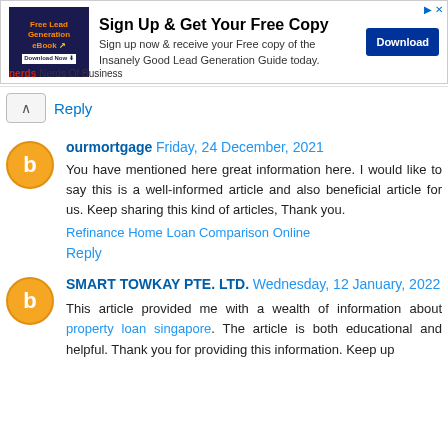[Figure (infographic): Advertisement banner for 'Free Lead Generation eBook' by Nerds Of Business. Contains dark blue background image with icons, bold headline 'Sign Up & Get Your Free Copy', descriptive text, and a blue Download button.]
Reply
ourmortgage  Friday, 24 December, 2021
You have mentioned here great information here. I would like to say this is a well-informed article and also beneficial article for us. Keep sharing this kind of articles, Thank you.
Refinance Home Loan Comparison Online
Reply
SMART TOWKAY PTE. LTD.  Wednesday, 12 January, 2022
This article provided me with a wealth of information about property loan singapore. The article is both educational and helpful. Thank you for providing this information. Keep up